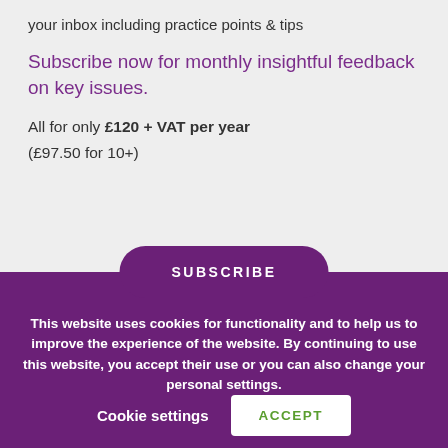your inbox including practice points & tips
Subscribe now for monthly insightful feedback on key issues.
All for only £120 + VAT per year (£97.50 for 10+)
SUBSCRIBE
This website uses cookies for functionality and to help us to improve the experience of the website. By continuing to use this website, you accept their use or you can also change your personal settings.
Cookie settings
ACCEPT